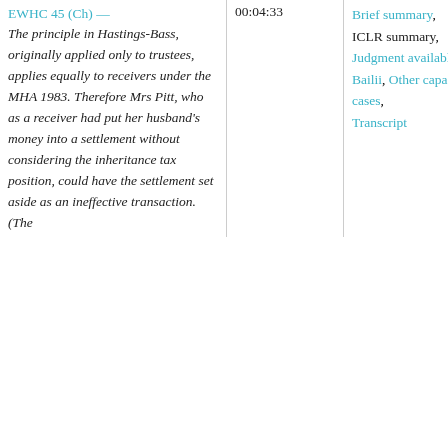| EWHC 45 (Ch) — The principle in Hastings-Bass, originally applied only to trustees, applies equally to receivers under the MHA 1983. Therefore Mrs Pitt, who as a receiver had put her husband's money into a settlement without considering the inheritance tax position, could have the settlement set aside as an ineffective transaction. (The | 00:04:33 | Brief summary, ICLR summary, Judgment available on Bailii, Other capacity cases, Transcript |